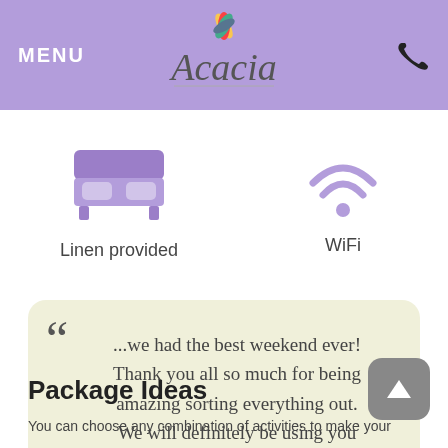MENU | Acacia | Phone
[Figure (illustration): Purple bed icon with text 'Linen provided' and WiFi icon with text 'WiFi']
...we had the best weekend ever! Thank you all so much for being amazing sorting everything out. We will definitely be using you guys again.
Package Ideas
You can choose any combination of activities to make your